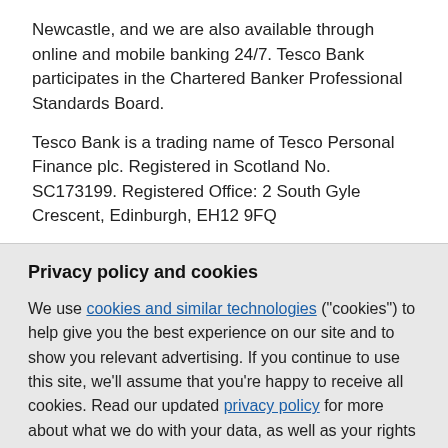Newcastle, and we are also available through online and mobile banking 24/7. Tesco Bank participates in the Chartered Banker Professional Standards Board.
Tesco Bank is a trading name of Tesco Personal Finance plc. Registered in Scotland No. SC173199. Registered Office: 2 South Gyle Crescent, Edinburgh, EH12 9FQ
Privacy policy and cookies
We use cookies and similar technologies ("cookies") to help give you the best experience on our site and to show you relevant advertising. If you continue to use this site, we'll assume that you're happy to receive all cookies. Read our updated privacy policy for more about what we do with your data, as well as your rights and choices – including how to manage cookies.
Accept and close